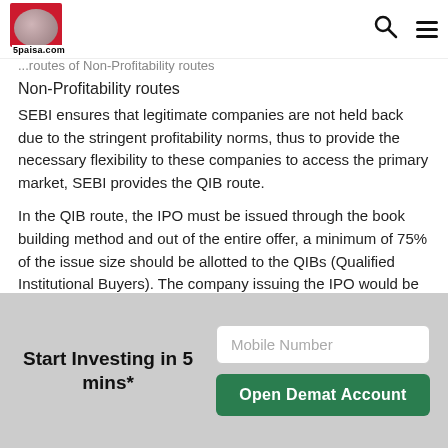5paisa.com
...routes of Non-Profitability routes
Non-Profitability routes
SEBI ensures that legitimate companies are not held back due to the stringent profitability norms, thus to provide the necessary flexibility to these companies to access the primary market, SEBI provides the QIB route.
In the QIB route, the IPO must be issued through the book building method and out of the entire offer, a minimum of 75% of the issue size should be allotted to the QIBs (Qualified Institutional Buyers). The company issuing the IPO would be required to refund the entire IPO subscription money if this minimum allotment requirement is not attained.
Start Investing in 5 mins*
Get Benefits worth 2100* | Rs. 20 Flat Per Order | 0%
Start Investing in 5 mins*
Mobile Number
Open Demat Account